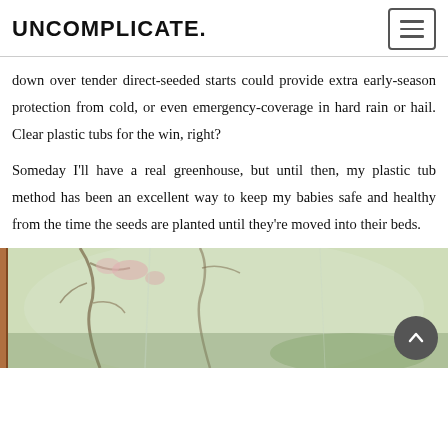UNCOMPLICATE.
down over tender direct-seeded starts could provide extra early-season protection from cold, or even emergency-coverage in hard rain or hail. Clear plastic tubs for the win, right?
Someday I'll have a real greenhouse, but until then, my plastic tub method has been an excellent way to keep my babies safe and healthy from the time the seeds are planted until they're moved into their beds.
[Figure (photo): Outdoor garden scene viewed through a window or clear plastic tub, showing trees and greenery in spring]